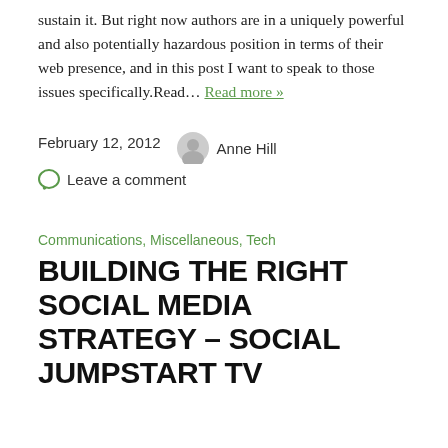sustain it. But right now authors are in a uniquely powerful and also potentially hazardous position in terms of their web presence, and in this post I want to speak to those issues specifically.Read… Read more »
February 12, 2012   Anne Hill
○ Leave a comment
Communications, Miscellaneous, Tech
BUILDING THE RIGHT SOCIAL MEDIA STRATEGY – SOCIAL JUMPSTART TV